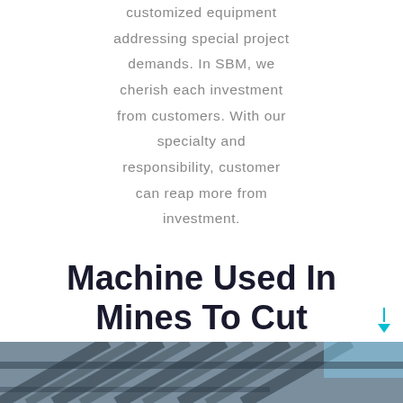customized equipment addressing special project demands. In SBM, we cherish each investment from customers. With our specialty and responsibility, customer can reap more from investment.
Machine Used In Mines To Cut Granite
[Figure (photo): Partial view of a machine used in mines, showing diagonal structural beams and metal framework, with blue sky visible in the background.]